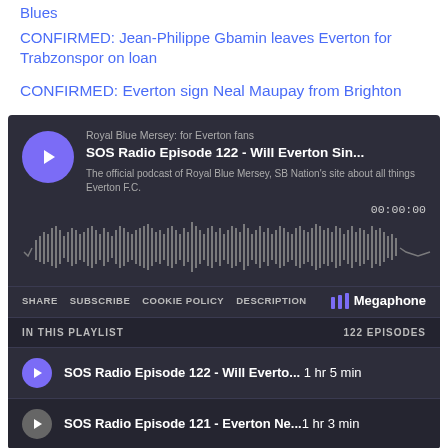Blues
CONFIRMED: Jean-Philippe Gbamin leaves Everton for Trabzonspor on loan
CONFIRMED: Everton sign Neal Maupay from Brighton
[Figure (screenshot): Podcast player widget - Royal Blue Mersey: for Everton fans, SOS Radio Episode 122 - Will Everton Sin... The official podcast of Royal Blue Mersey, SB Nation's site about all things Everton F.C. Timer: 00:00:00, waveform display, controls: SHARE, SUBSCRIBE, COOKIE POLICY, DESCRIPTION, Megaphone logo. Playlist: IN THIS PLAYLIST - 122 EPISODES. Episode rows: SOS Radio Episode 122 - Will Everto... 1 hr 5 min, SOS Radio Episode 121 - Everton Ne...1 hr 3 min]